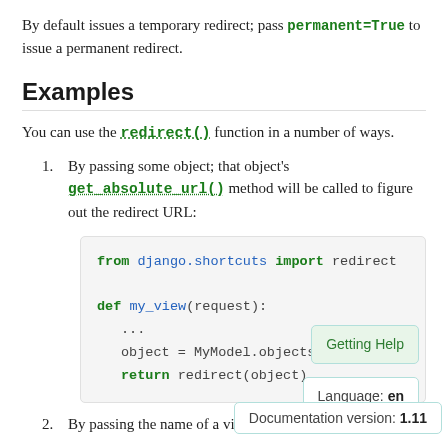By default issues a temporary redirect; pass permanent=True to issue a permanent redirect.
Examples
You can use the redirect() function in a number of ways.
1. By passing some object; that object's get_absolute_url() method will be called to figure out the redirect URL:
[Figure (screenshot): Code block showing: from django.shortcuts import redirect

def my_view(request):
    ...
    object = MyModel.objects.get(...,
    return redirect(object)]
2. By passing the name of a view and optionally some positional or keyword arguments; the URL will be reverse resolved using